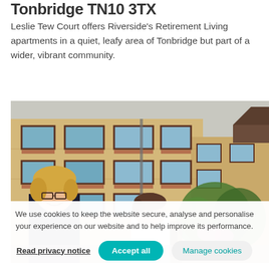Tonbridge TN10 3TX
Leslie Tew Court offers Riverside's Retirement Living apartments in a quiet, leafy area of Tonbridge but part of a wider, vibrant community.
[Figure (photo): Two women smiling in front of a multi-storey brick apartment building with green foliage and pink flowers.]
We use cookies to keep the website secure, analyse and personalise your experience on our website and to help improve its performance.